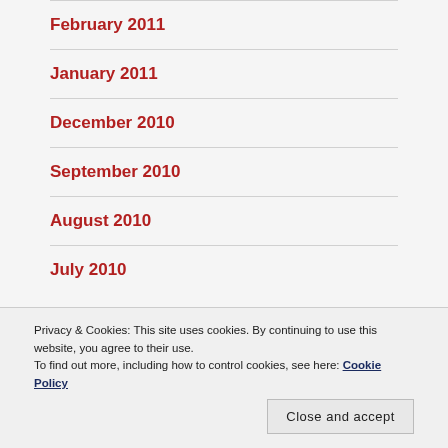February 2011
January 2011
December 2010
September 2010
August 2010
July 2010
Privacy & Cookies: This site uses cookies. By continuing to use this website, you agree to their use.
To find out more, including how to control cookies, see here: Cookie Policy
March 2010